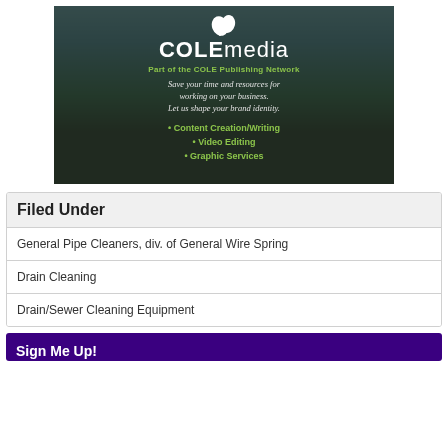[Figure (illustration): COLEmedia advertisement banner with dark semi-transparent overlay on a nature/lake background. Shows COLEmedia logo with leaf icon, tagline 'Part of the COLE Publishing Network', text 'Save your time and resources for working on your business. Let us shape your brand identity.' and bullet points: Content Creation/Writing, Video Editing, Graphic Services in green text.]
Filed Under
General Pipe Cleaners, div. of General Wire Spring
Drain Cleaning
Drain/Sewer Cleaning Equipment
Sign Me Up!